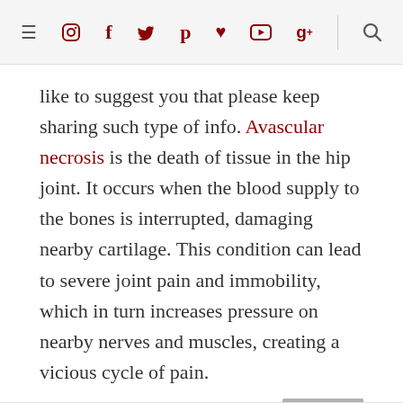Navigation bar with menu, social icons (instagram, facebook, twitter, pinterest, heart, youtube, google+), and search
like to suggest you that please keep sharing such type of info. Avascular necrosis is the death of tissue in the hip joint. It occurs when the blood supply to the bones is interrupted, damaging nearby cartilage. This condition can lead to severe joint pain and immobility, which in turn increases pressure on nearby nerves and muscles, creating a vicious cycle of pain.